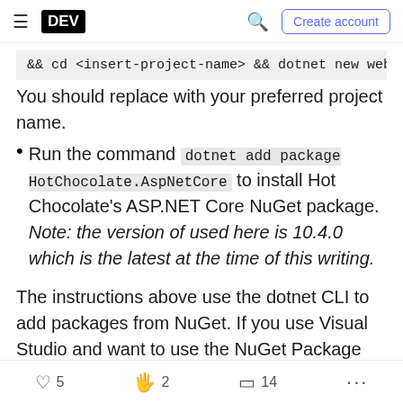DEV | Create account
&& cd <insert-project-name> && dotnet new web. You should replace with your preferred project name.
Run the command dotnet add package HotChocolate.AspNetCore to install Hot Chocolate's ASP.NET Core NuGet package. Note: the version of used here is 10.4.0 which is the latest at the time of this writing.
The instructions above use the dotnet CLI to add packages from NuGet. If you use Visual Studio and want to use the NuGet Package Manager console, run the command Install-Package
5  2  14  ...